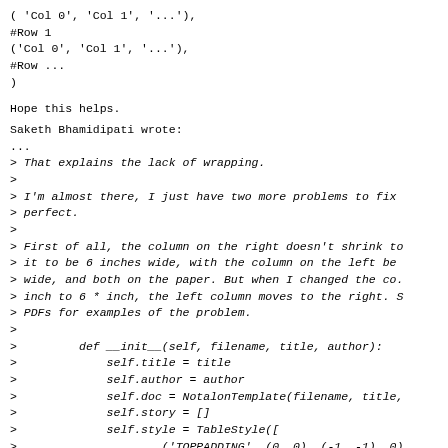( 'Col 0', 'Col 1', '...'),
#Row 1
('Col 0', 'Col 1', '...'),
#Row ...
)
Hope this helps.
Saketh Bhamidipati wrote:
...
> That explains the lack of wrapping.
>
> I'm almost there, I just have two more problems to fix
> perfect.
>
> First of all, the column on the right doesn't shrink to
> it to be 6 inches wide, with the column on the left be
> wide, and both on the paper. But when I changed the co.
> inch to 6 * inch, the left column moves to the right. S
> PDFs for examples of the problem.
>
>         def __init__(self, filename, title, author):
>             self.title = title
>             self.author = author
>             self.doc = NotalonTemplate(filename, title,
>             self.story = []
>             self.style = TableStyle([
>                     ('TOPPADDING', (0, 0), (-1, -1), 0),
>                     ('BOTTOMPADDING', (0, 0), (-1, -1), 0),
>                     ('LEADING', (0, 0), (-1, -1), 10),
>                     ('FONTSIZE', (0, 0), (-1, -1), 12),